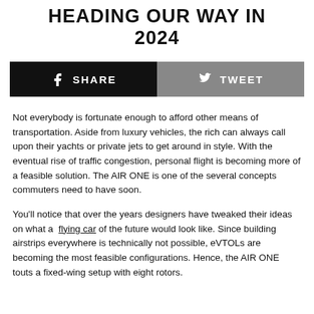HEADING OUR WAY IN 2024
[Figure (infographic): Social sharing bar with Facebook Share button (black) and Twitter Tweet button (grey)]
Not everybody is fortunate enough to afford other means of transportation. Aside from luxury vehicles, the rich can always call upon their yachts or private jets to get around in style. With the eventual rise of traffic congestion, personal flight is becoming more of a feasible solution. The AIR ONE is one of the several concepts commuters need to have soon.
You'll notice that over the years designers have tweaked their ideas on what a flying car of the future would look like. Since building airstrips everywhere is technically not possible, eVTOLs are becoming the most feasible configurations. Hence, the AIR ONE touts a fixed-wing setup with eight rotors.